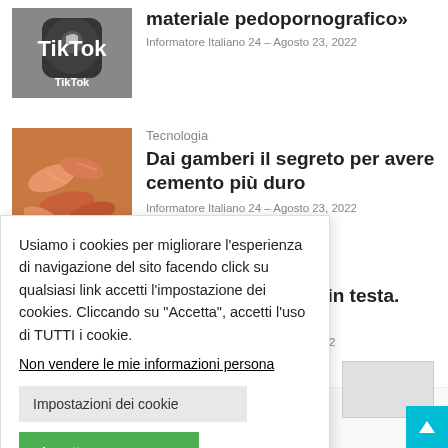[Figure (photo): TikTok app logo on a smartphone screen]
materiale pedopornografico»
Informatore Italiano 24 – Agosto 23, 2022
Tecnologia
[Figure (photo): Close-up photo of shrimp/gamberi]
Dai gamberi il segreto per avere cemento più duro
Informatore Italiano 24 – Agosto 23, 2022
Usiamo i cookies per migliorare l'esperienza di navigazione del sito facendo click su qualsiasi link accetti l'impostazione dei cookies. Cliccando su "Accetta", accetti l'uso di TUTTI i cookie.
Non vendere le mie informazioni persona
Impostazioni dei cookie
Accettare
cron in testa. en
o 23, 2022
n o n s p u p o r · r n o m o